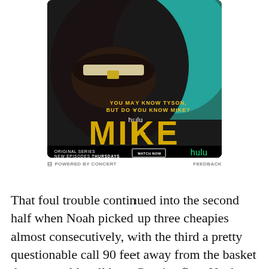[Figure (screenshot): Hulu advertisement for the original series 'MIKE'. Shows a close-up of a person with a gold grill laughing/yelling against a teal background. Text reads 'YOU MAY KNOW TYSON, BUT DO YOU KNOW MIKE?' with 'hulu' branding, large yellow block letters 'MIKE', and 'ORIGINAL SERIES NEW EPISODES THURSDAYS' with a 'WATCH NOW' button and 'hulu' logo.]
⊟ POWERED BY CONCERT   FEEDBACK
That foul trouble continued into the second half when Noah picked up three cheapies almost consecutively, with the third a pretty questionable call 90 feet away from the basket that was sold well by a Cousins flop. Noah almost pulled a repeat of his meltdown last year